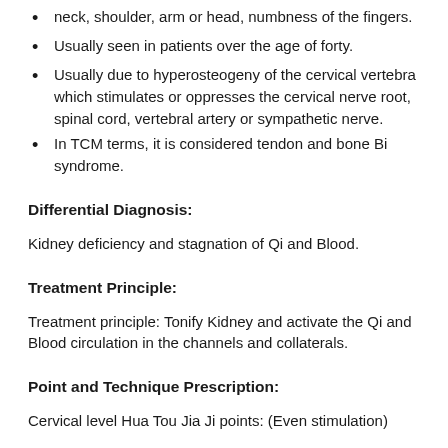neck, shoulder, arm or head, numbness of the fingers.
Usually seen in patients over the age of forty.
Usually due to hyperosteogeny of the cervical vertebra which stimulates or oppresses the cervical nerve root, spinal cord, vertebral artery or sympathetic nerve.
In TCM terms, it is considered tendon and bone Bi syndrome.
Differential Diagnosis:
Kidney deficiency and stagnation of Qi and Blood.
Treatment Principle:
Treatment principle: Tonify Kidney and activate the Qi and Blood circulation in the channels and collaterals.
Point and Technique Prescription:
Cervical level Hua Tou Jia Ji points: (Even stimulation)